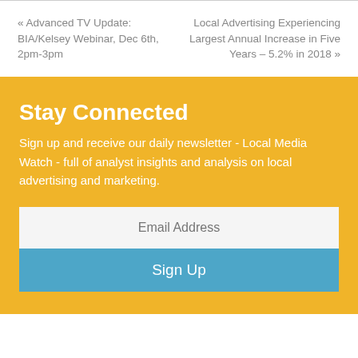« Advanced TV Update: BIA/Kelsey Webinar, Dec 6th, 2pm-3pm
Local Advertising Experiencing Largest Annual Increase in Five Years – 5.2% in 2018 »
Stay Connected
Sign up and receive our daily newsletter - Local Media Watch - full of analyst insights and analysis on local advertising and marketing.